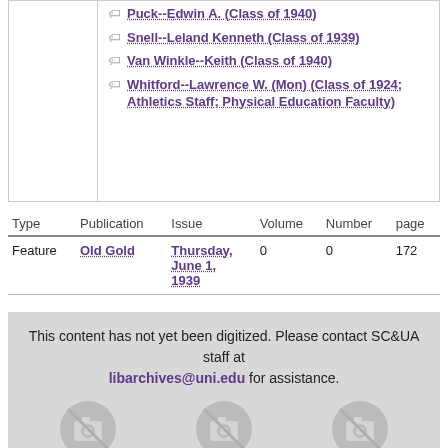Puck--Edwin A. (Class of 1940)
Snell--Leland Kenneth (Class of 1939)
Van Winkle--Keith (Class of 1940)
Whitford--Lawrence W. (Mon) (Class of 1924; Athletics Staff; Physical Education Faculty)
| Type | Publication | Issue | Volume | Number | page |
| --- | --- | --- | --- | --- | --- |
| Feature | Old Gold | Thursday, June 1, 1939 | 0 | 0 | 172 |
This content has not yet been digitized. Please contact SC&UA staff at libarchives@uni.edu for assistance.
[Figure (illustration): Three camera/no-image placeholder icons in a row on gray background]